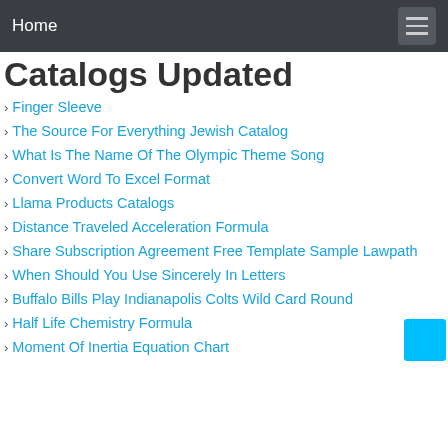Home
Catalogs Updated
Finger Sleeve
The Source For Everything Jewish Catalog
What Is The Name Of The Olympic Theme Song
Convert Word To Excel Format
Llama Products Catalogs
Distance Traveled Acceleration Formula
Share Subscription Agreement Free Template Sample Lawpath
When Should You Use Sincerely In Letters
Buffalo Bills Play Indianapolis Colts Wild Card Round
Half Life Chemistry Formula
Moment Of Inertia Equation Chart